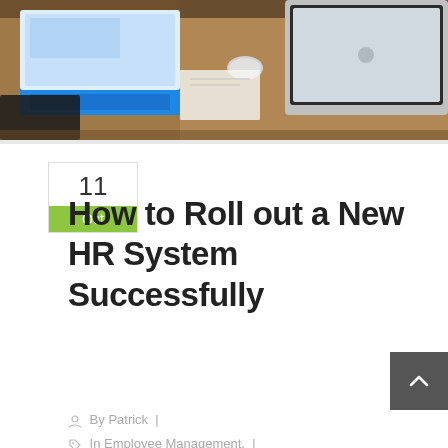[Figure (photo): Photo of laptops and tablets on a wooden conference table, seen from above]
11 Oct
How to Roll out a New HR System Successfully
By Patrick |
In Employee Management, | Workforce Planning, Workplace Culture
Comments